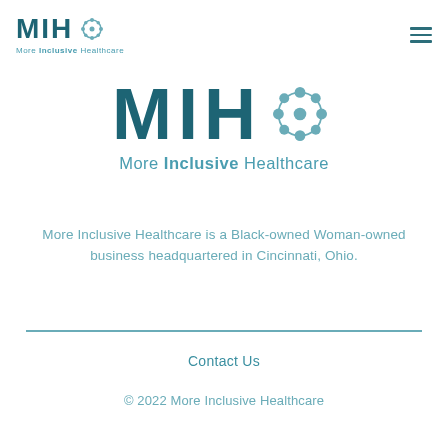[Figure (logo): MIH More Inclusive Healthcare small logo in navigation bar, teal/dark teal color]
[Figure (logo): MIH More Inclusive Healthcare large centered logo, dark teal letters with teal snowflake/geometric icon]
More Inclusive Healthcare is a Black-owned Woman-owned business headquartered in Cincinnati, Ohio.
Contact Us
© 2022 More Inclusive Healthcare